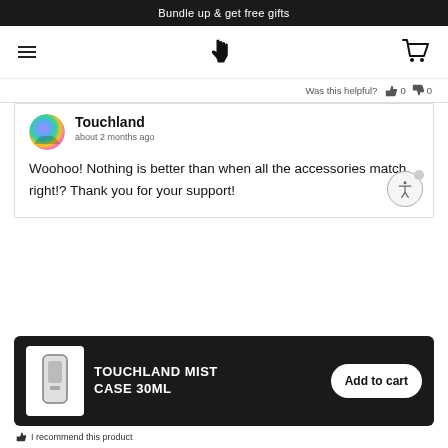Bundle up & get free gifts
[Figure (screenshot): Navigation bar with hamburger menu, hand logo, and cart icon]
Was this helpful? 0 0
Touchland
about 2 months ago

Woohoo! Nothing is better than when all the accessories match, right!? Thank you for your support!
TOUCHLAND MIST CASE 30ML
Add to cart
I recommend this product